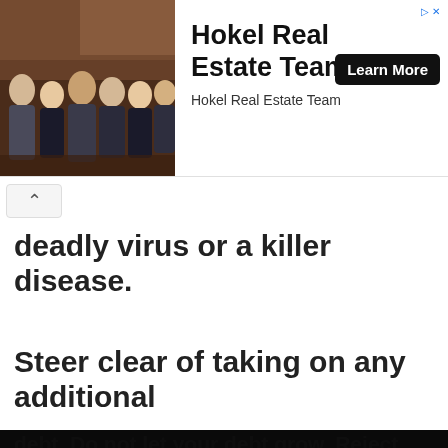[Figure (photo): Ad banner: group photo of real estate team (6 people in business attire in a restaurant/bar setting) on the left, with 'Hokel Real Estate Team' text and 'Learn More' button on the right]
deadly virus or a killer disease.
Steer clear of taking on any additional debt. Do not let your debt grow. Reject deb…
More Money Tips uses the data you provide to inform you about our new posts. We treat your privacy and personal information seriously, and applies physical, electronic and technical management procedures to keep your information secure. We will never trade, sell our users' information.
This website uses cookies to improve your experience. We'll assume you're ok with this, but you can opt-out if you wish.
❯ Privacy Preferences
I Agree